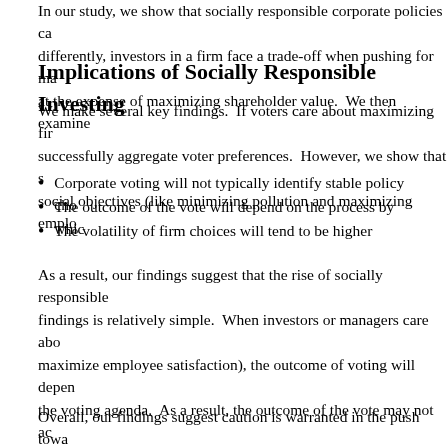In our study, we show that socially responsible corporate policies ca... differently, investors in a firm face a trade-off when pushing for ma... at the expense of maximizing shareholder value.  We then examine
Implications of Socially Responsible Investing
We make several key findings.  If voters care about maximizing fir... successfully aggregate voter preferences.  However, we show that s... social objectives (like minimizing pollution and maximizing emplo...
Corporate voting will not typically identify stable policy cho...
The outcome of the vote will depend on the process by whic...
The volatility of firm choices will tend to be higher
As a result, our findings suggest that the rise of socially responsible... findings is relatively simple.  When investors or managers care abo... maximize employee satisfaction), the outcome of voting will depen... the voting agenda.  As a result, the outcome of the vote may not ac... regularly, depending on who sets the voting agenda.
Overall, our findings suggest caution is warranted in the push towa...